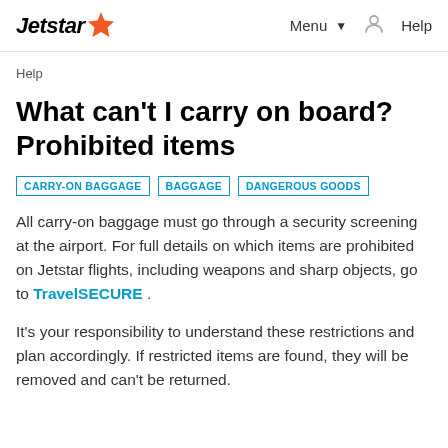Jetstar ★   Menu ∨   🔔   Help
Help
What can't I carry on board? Prohibited items
CARRY-ON BAGGAGE   BAGGAGE   DANGEROUS GOODS
All carry-on baggage must go through a security screening at the airport. For full details on which items are prohibited on Jetstar flights, including weapons and sharp objects, go to TravelSECURE .
It's your responsibility to understand these restrictions and plan accordingly. If restricted items are found, they will be removed and can't be returned.